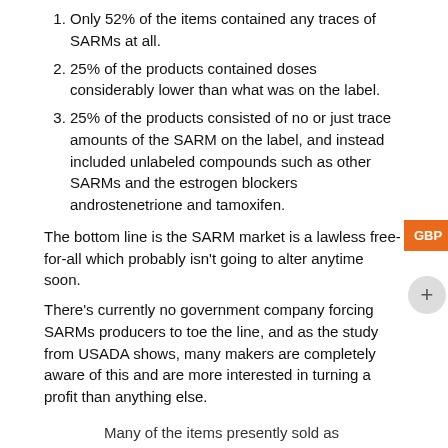Only 52% of the items contained any traces of SARMs at all.
25% of the products contained doses considerably lower than what was on the label.
25% of the products consisted of no or just trace amounts of the SARM on the label, and instead included unlabeled compounds such as other SARMs and the estrogen blockers androstenetrione and tamoxifen.
The bottom line is the SARM market is a lawless free-for-all which probably isn't going to alter anytime soon.
There's currently no government company forcing SARMs producers to toe the line, and as the study from USADA shows, many makers are completely aware of this and are more interested in turning a profit than anything else.
Many of the items presently sold as SARMs either don't include any SARMs or include other covert chemicals and possibly hazardous substances.
The Bottom Line on SARMs